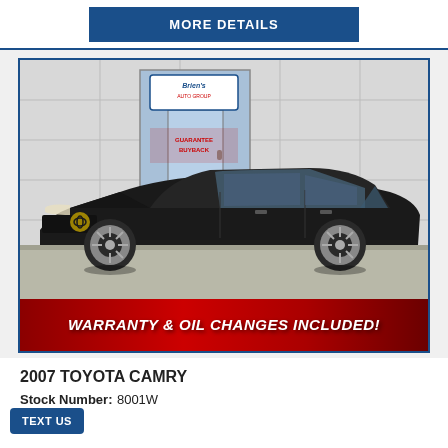MORE DETAILS
[Figure (photo): Black 2007 Toyota Camry parked in front of a car dealership (Brien's) with a red warranty banner at the bottom reading 'WARRANTY & OIL CHANGES INCLUDED!']
2007 TOYOTA CAMRY
Stock Number: 8001W
TEXT US